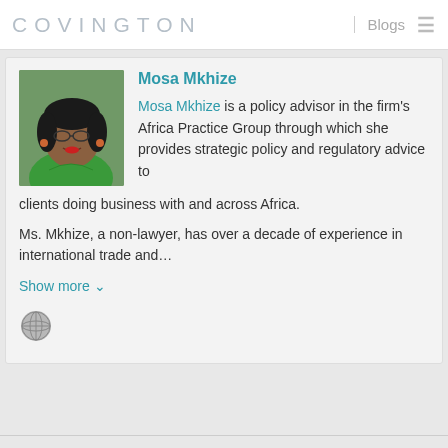COVINGTON | Blogs
[Figure (photo): Profile photo of Mosa Mkhize, a woman wearing green top and glasses, smiling]
Mosa Mkhize
Mosa Mkhize is a policy advisor in the firm's Africa Practice Group through which she provides strategic policy and regulatory advice to clients doing business with and across Africa.
Ms. Mkhize, a non-lawyer, has over a decade of experience in international trade and…
Show more ∨
[Figure (illustration): Globe/web icon]